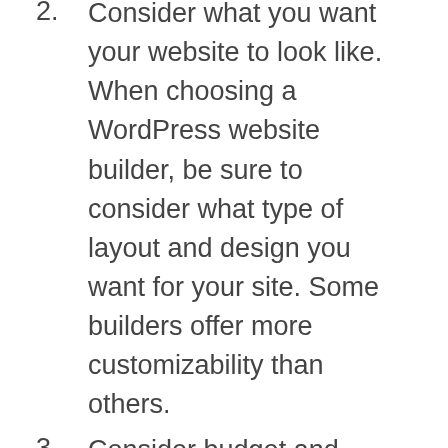2. Consider what you want your website to look like. When choosing a WordPress website builder, be sure to consider what type of layout and design you want for your site. Some builders offer more customizability than others.
3. Consider budget and needs. Finally, think about budget and needs when choosing a WordPress website builder.
What kind of hosting plan do I need to use a WordPress website builder?
A WordPress website builder is a great way to